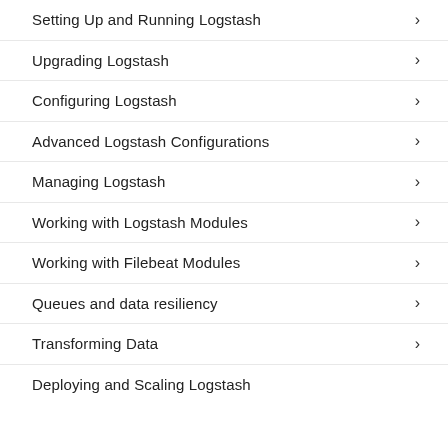Setting Up and Running Logstash
Upgrading Logstash
Configuring Logstash
Advanced Logstash Configurations
Managing Logstash
Working with Logstash Modules
Working with Filebeat Modules
Queues and data resiliency
Transforming Data
Deploying and Scaling Logstash